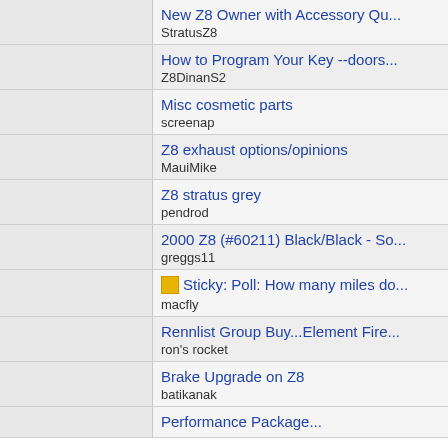New Z8 Owner with Accessory Qu... | StratusZ8
How to Program Your Key --doors... | Z8DinanS2
Misc cosmetic parts | screenap
Z8 exhaust options/opinions | MauiMike
Z8 stratus grey | pendrod
2000 Z8 (#60211) Black/Black - So... | greggs11
Sticky: Poll: How many miles do... | macfly
Rennlist Group Buy...Element Fire... | ron's rocket
Brake Upgrade on Z8 | batikanak
Performance Package...